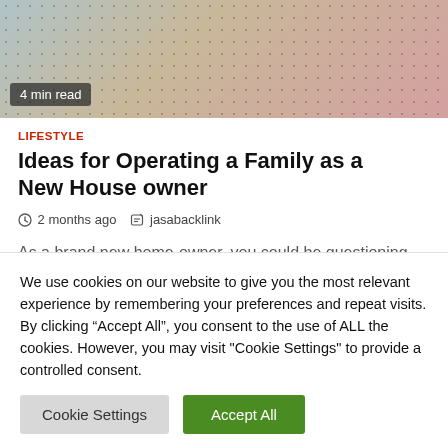[Figure (photo): Hero image at top of article showing craft/lifestyle items with a polka-dot background, with '4 min read' badge overlay]
4 min read
LIFESTYLE
Ideas for Operating a Family as a New House owner
2 months ago  jasabacklink
As a brand new home-owner, you could be questioning preserve your family operating easily
We use cookies on our website to give you the most relevant experience by remembering your preferences and repeat visits. By clicking "Accept All", you consent to the use of ALL the cookies. However, you may visit "Cookie Settings" to provide a controlled consent.